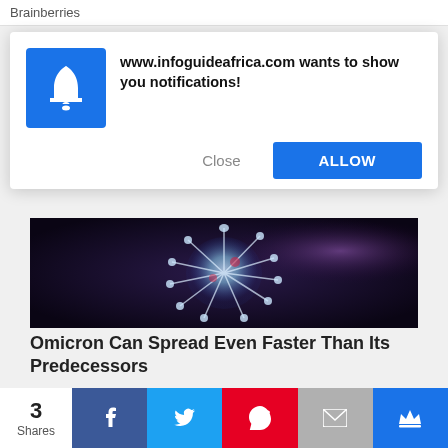Brainberries
www.infoguideafrica.com wants to show you notifications!
Close
ALLOW
[Figure (photo): Close-up microscope image of a coronavirus/Omicron virus particle with spiky protrusions on dark background]
Omicron Can Spread Even Faster Than Its Predecessors
Brainberries
[Figure (photo): Partial view of a decorative or biological image, bottom of page]
3 Shares
[Figure (infographic): Social share bar with Facebook, Twitter, Pinterest, Email, and crown/bookmark buttons]